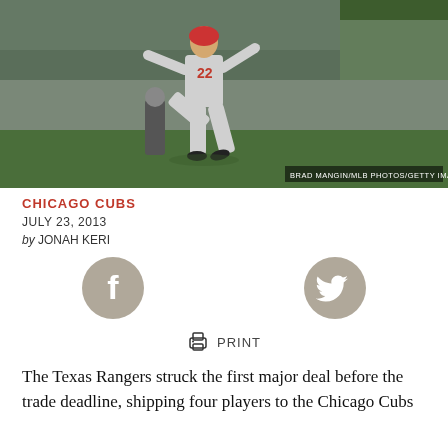[Figure (photo): Baseball pitcher in gray uniform with number 22 in red, mid-pitch stance on a baseball field. Crowd visible in background.]
BRAD MANGIN/MLB PHOTOS/GETTY IMAGES
CHICAGO CUBS
JULY 23, 2013
by JONAH KERI
[Figure (infographic): Facebook share icon (gray circle with white f)]
[Figure (infographic): Twitter share icon (gray circle with white bird)]
PRINT
The Texas Rangers struck the first major deal before the trade deadline, shipping four players to the Chicago Cubs